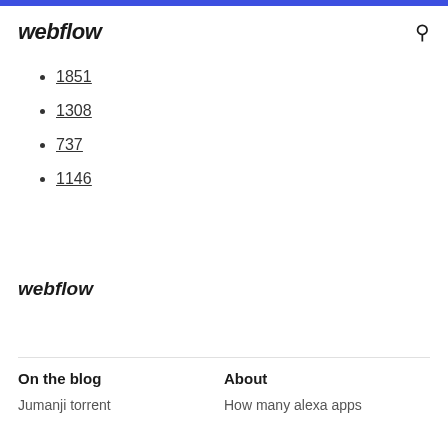webflow [header bar with search icon]
1851
1308
737
1146
webflow
On the blog
About
Jumanji torrent
How many alexa apps